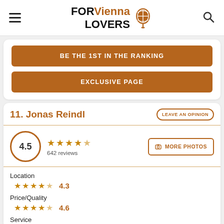FOR Vienna LOVERS
BE THE 1ST IN THE RANKING
EXCLUSIVE PAGE
11. Jonas Reindl
4.5 · 642 reviews
MORE PHOTOS
Location
4.3
Price/Quality
4.6
Service